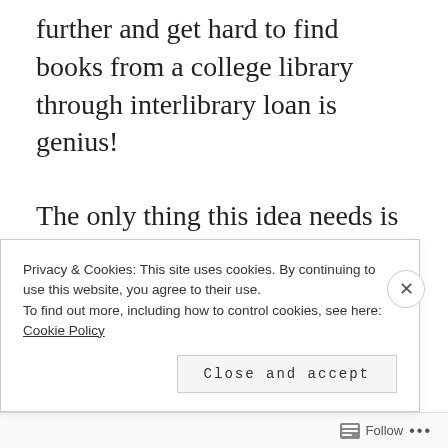further and get hard to find books from a college library through interlibrary loan is genius!
The only thing this idea needs is a good hashtag. Any suggestions? How about #libraryxmas or #checkoutxmas 🎄📚
Thanks for the inspiration Emily!
Privacy & Cookies: This site uses cookies. By continuing to use this website, you agree to their use. To find out more, including how to control cookies, see here: Cookie Policy
Follow ...